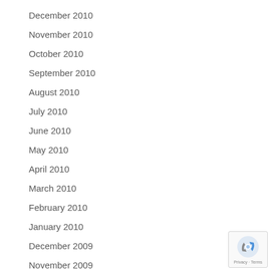December 2010
November 2010
October 2010
September 2010
August 2010
July 2010
June 2010
May 2010
April 2010
March 2010
February 2010
January 2010
December 2009
November 2009
October 2009